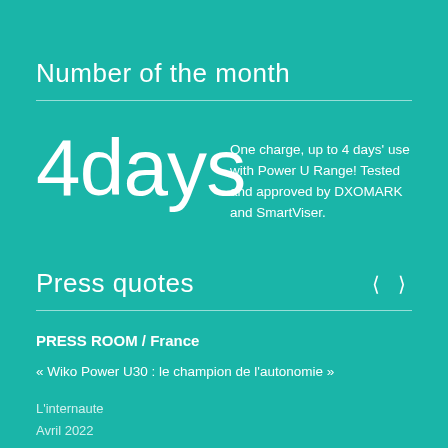Number of the month
4days
One charge, up to 4 days' use with Power U Range! Tested and approved by DXOMARK and SmartViser.
Press quotes
PRESS ROOM / France
« Wiko Power U30 : le champion de l’autonomie »
L’internaute
Avril 2022